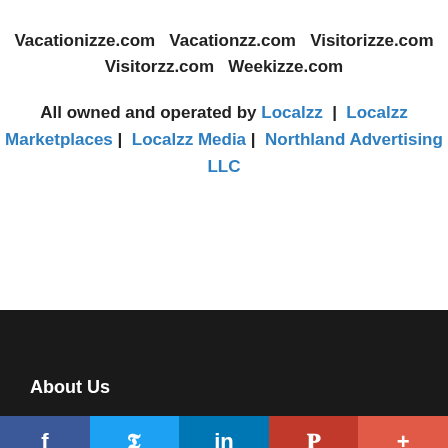Vacationizze.com  Vacationzz.com  Visitorizze.com  Visitorzz.com  Weekizze.com
All owned and operated by Localzz | Localzz Marketplaces | Localzz Media | Northland Advertising LLC
About Us
f  Twitter  in  P  +